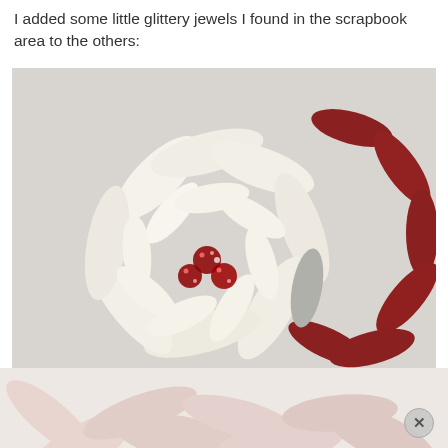I added some little glittery jewels I found in the scrapbook area to the others:
[Figure (photo): Close-up photograph of handmade paper poinsettia flowers. A large white/cream paper flower with red glittery jewel embellishments at its center is in the foreground. A deep red/burgundy paper poinsettia flower is partially visible on the right side. The flowers have layered petal shapes cut from paper.]
[Figure (photo): Partial view of another paper flower arrangement visible at the bottom of the page, showing light pink/blush colored paper petals against a light background.]